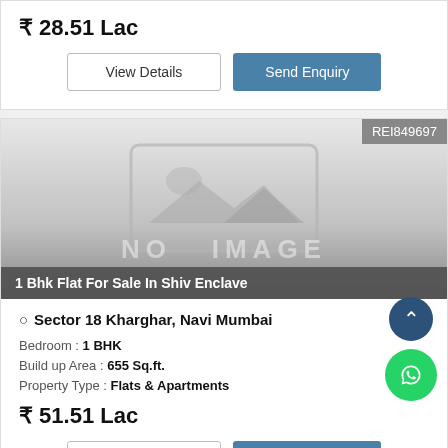₹ 28.51 Lac
View Details | Send Enquiry
REI849697
[Figure (photo): No image placeholder with mountain/landscape icon and 'NO IMAGE' text overlay]
1 Bhk Flat For Sale In Shiv Enclave
Sector 18 Kharghar, Navi Mumbai
Bedroom : 1 BHK
Build up Area : 655 Sq.ft.
Property Type : Flats & Apartments
₹ 51.51 Lac
View Details | Send Enquiry